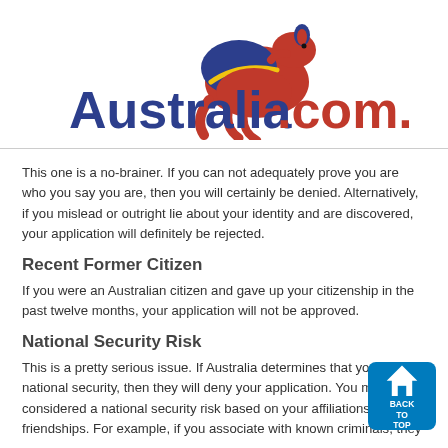[Figure (logo): Australia.com.ph logo with kangaroo graphic in blue, red, and yellow colors, and bold blue and red text]
This one is a no-brainer. If you can not adequately prove you are who you say you are, then you will certainly be denied. Alternatively, if you mislead or outright lie about your identity and are discovered, your application will definitely be rejected.
Recent Former Citizen
If you were an Australian citizen and gave up your citizenship in the past twelve months, your application will not be approved.
National Security Risk
This is a pretty serious issue. If Australia determines that you are a national security, then they will deny your application. You might be considered a national security risk based on your affiliations or friendships. For example, if you associate with known criminals, they...